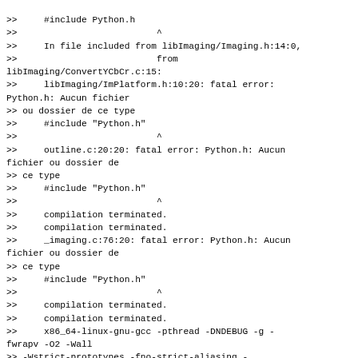>>     #include Python.h
>>			^
>>     In file included from libImaging/Imaging.h:14:0,
>>			from
libImaging/ConvertYCbCr.c:15:
>>     libImaging/ImPlatform.h:10:20: fatal error:
Python.h: Aucun fichier
>> ou dossier de ce type
>>     #include "Python.h"
>>			^
>>     outline.c:20:20: fatal error: Python.h: Aucun
fichier ou dossier de
>> ce type
>>     #include "Python.h"
>>			^
>>     compilation terminated.
>>     compilation terminated.
>>     _imaging.c:76:20: fatal error: Python.h: Aucun
fichier ou dossier de
>> ce type
>>     #include "Python.h"
>>			^
>>     compilation terminated.
>>     compilation terminated.
>>     x86_64-linux-gnu-gcc -pthread -DNDEBUG -g -
fwrapv -O2 -Wall
>> -Wstrict-prototypes -fno-strict-aliasing -
D_FORTIFY_SOURCE=2 -g
>> -fstack-protector-strong -Wformat -Werror=format-
security -fPIC
>> -I/home/alain/mod_client/env/build/Pillow/libImaging